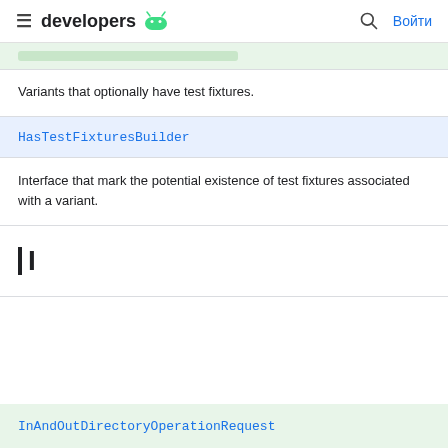developers
Variants that optionally have test fixtures.
HasTestFixturesBuilder
Interface that mark the potential existence of test fixtures associated with a variant.
I
InAndOutDirectoryOperationRequest